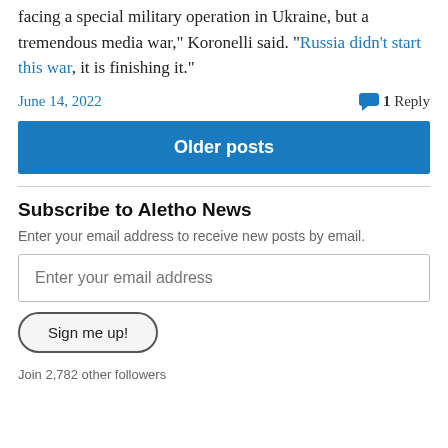facing a special military operation in Ukraine, but a tremendous media war," Koronelli said. "Russia didn't start this war, it is finishing it."
June 14, 2022    1 Reply
Older posts
Subscribe to Aletho News
Enter your email address to receive new posts by email.
Enter your email address
Sign me up!
Join 2,782 other followers